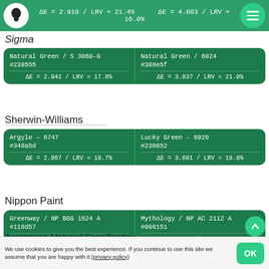ΔE = 2.910 / LRV ≈ 21.4%  |  ΔE = 4.083 / LRV ≈ 16.0%
Sigma
| Color 1 | Color 2 |
| --- | --- |
| Natural Green / S 3060-G
#238555
ΔE = 2.941 / LRV ≈ 17.8% | Natural Green / 6024
#388e5f
ΔE = 3.837 / LRV ≈ 21.0% |
Sherwin-Williams
| Color 1 | Color 2 |
| --- | --- |
| Argyle – 6747
#348a5d
ΔE = 2.967 / LRV ≈ 19.7% | Lucky Green – 6926
#238652
ΔE = 3.601 / LRV ≈ 18.0% |
Nippon Paint
| Color 1 | Color 2 |
| --- | --- |
| Greenway / NP BGG 1624 A
#118d57
ΔE = 2.993 / LRV ≈ 19.9% | Mythology / NP AC 2112 A
#008151
ΔE = 3.734 / LRV ≈ 16.3% |
Aerospace Material Specification
We use cookies to give you the best experience. If you continue to use this site we assume that you are happy with it (privacy policy)